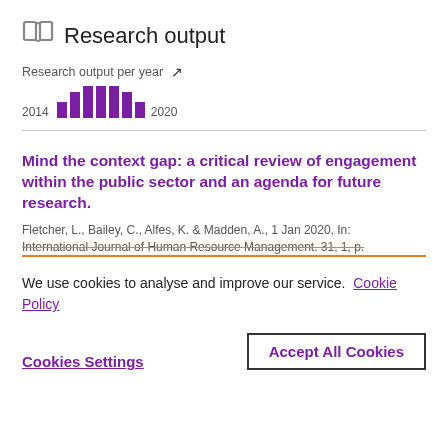Research output
Research output per year
[Figure (bar-chart): Research output per year]
Mind the context gap: a critical review of engagement within the public sector and an agenda for future research.
Fletcher, L., Bailey, C., Alfes, K. & Madden, A., 1 Jan 2020, In: International Journal of Human Resource Management. 31, 1, p.
We use cookies to analyse and improve our service. Cookie Policy
Cookies Settings
Accept All Cookies